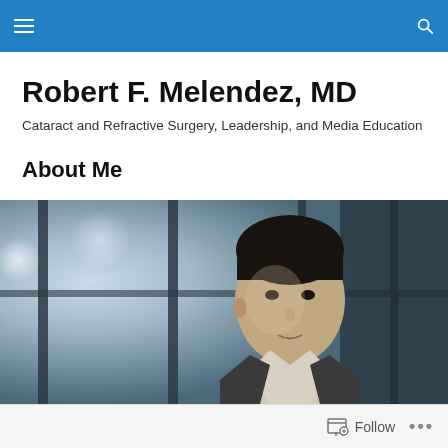Robert F. Melendez, MD — Navigation bar
Robert F. Melendez, MD
Cataract and Refractive Surgery, Leadership, and Media Education
About Me
[Figure (photo): A man (Robert F. Melendez, MD) in front of large windows with blurred background lights, wearing a suit, looking forward.]
Follow  ...